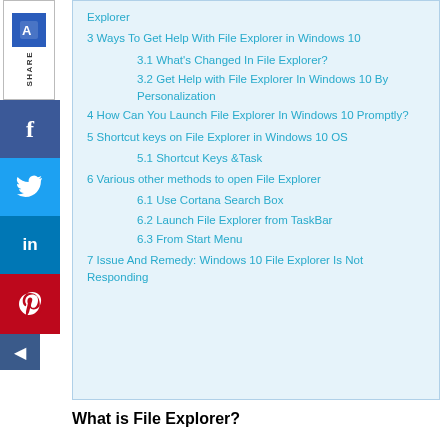Explorer
3 Ways To Get Help With File Explorer in Windows 10
3.1 What's Changed In File Explorer?
3.2 Get Help with File Explorer In Windows 10 By Personalization
4 How Can You Launch File Explorer In Windows 10 Promptly?
5 Shortcut keys on File Explorer in Windows 10 OS
5.1 Shortcut Keys &Task
6 Various other methods to open File Explorer
6.1 Use Cortana Search Box
6.2 Launch File Explorer from TaskBar
6.3 From Start Menu
7 Issue And Remedy: Windows 10 File Explorer Is Not Responding
What is File Explorer?